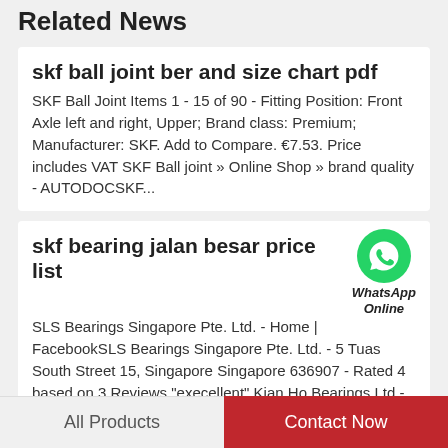Related News
skf ball joint ber and size chart pdf
SKF Ball Joint Items 1 - 15 of 90 - Fitting Position: Front Axle left and right, Upper; Brand class: Premium; Manufacturer: SKF. Add to Compare. €7.53. Price includes VAT SKF Ball joint » Online Shop » brand quality - AUTODOCSKF...
skf bearing jalan besar price list
[Figure (logo): WhatsApp icon (green circle with phone handset) with label 'WhatsApp Online' in italic bold]
SLS Bearings Singapore Pte. Ltd. - Home | FacebookSLS Bearings Singapore Pte. Ltd. - 5 Tuas South Street 15, Singapore Singapore 636907 - Rated 4 based on 3 Reviews "execellent" Kian Ho Bearings Ltd - Street DirectoryKian Ho Bearings Ltd...
All Products | Contact Now